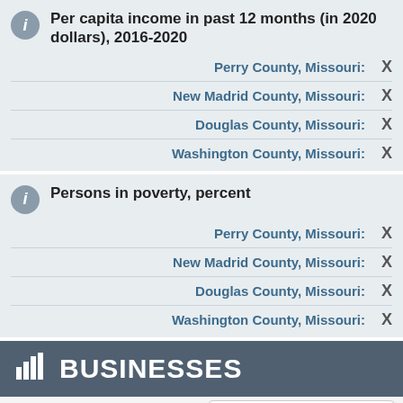Per capita income in past 12 months (in 2020 dollars), 2016-2020
| County | Value |
| --- | --- |
| Perry County, Missouri: | X |
| New Madrid County, Missouri: | X |
| Douglas County, Missouri: | X |
| Washington County, Missouri: | X |
Persons in poverty, percent
| County | Value |
| --- | --- |
| Perry County, Missouri: | X |
| New Madrid County, Missouri: | X |
| Douglas County, Missouri: | X |
| Washington County, Missouri: | X |
BUSINESSES
Businesses
Is this page helpful? Yes No